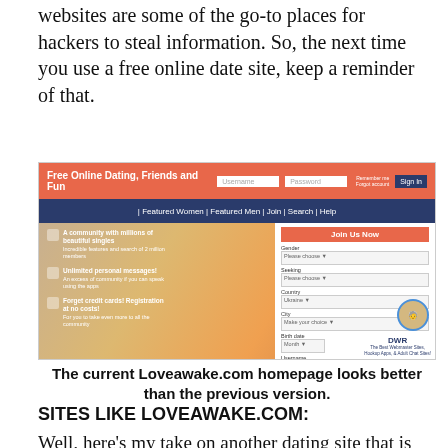websites are some of the go-to places for hackers to steal information. So, the next time you use a free online date site, keep a reminder of that.
[Figure (screenshot): Screenshot of the Loveawake.com dating website homepage showing the header with 'Free Online Dating, Friends and Fun', navigation bar with Featured Women, Featured Men, Join, Search, Help, a couple image background, feature highlights on the left, and a registration form on the right with Join Us Now header]
The current Loveawake.com homepage looks better than the previous version.
SITES LIKE LOVEAWAKE.COM:
Well, here's my take on another dating site that is